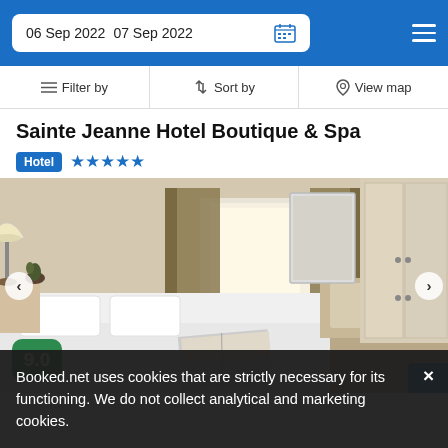06 Sep 2022  07 Sep 2022
Filter by  Sort by  View map
Sainte Jeanne Hotel Boutique & Spa
Hotel ★★★★★
[Figure (photo): Hotel room interior with white bedding, lamp, curtains, open book, and wardrobe]
9.0
Booked.net uses cookies that are strictly necessary for its functioning. We do not collect analytical and marketing cookies.